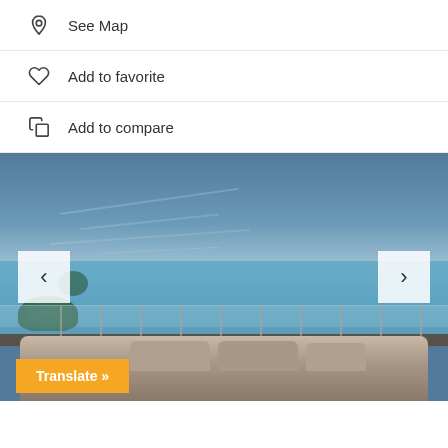See Map
Add to favorite
Add to compare
[Figure (photo): Rooftop terrace or balcony with glass railings overlooking a turquoise sea/ocean under a clear blue sky, with lounge furniture in the foreground. Navigation arrows on left and right sides. Orange 'Translate »' button at bottom left.]